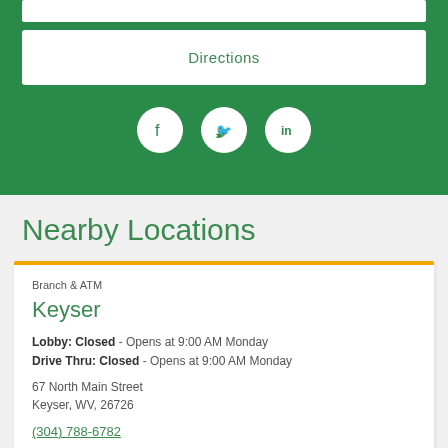Directions
[Figure (illustration): Social media icons: Facebook, Twitter, LinkedIn in white circles on green background]
Nearby Locations
Branch & ATM
Keyser
Lobby: Closed - Opens at 9:00 AM Monday
Drive Thru: Closed - Opens at 9:00 AM Monday
67 North Main Street
Keyser, WV, 26726
(304) 788-6782